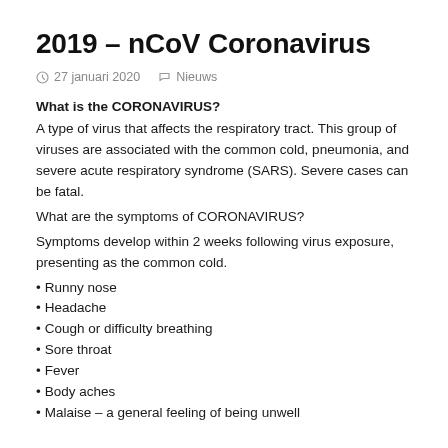2019 – nCoV Coronavirus
27 januari 2020    Nieuws
What is the CORONAVIRUS?
A type of virus that affects the respiratory tract. This group of viruses are associated with the common cold, pneumonia, and severe acute respiratory syndrome (SARS). Severe cases can be fatal.
What are the symptoms of CORONAVIRUS?
Symptoms develop within 2 weeks following virus exposure, presenting as the common cold.
Runny nose
Headache
Cough or difficulty breathing
Sore throat
Fever
Body aches
Malaise – a general feeling of being unwell